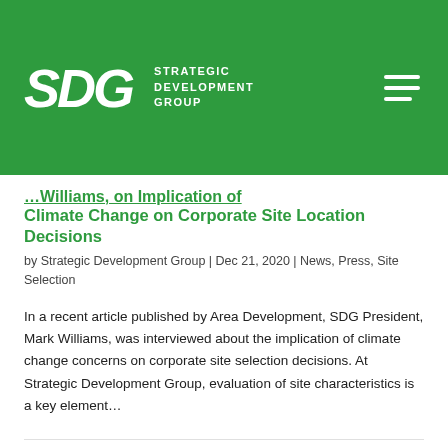SDG Strategic Development Group
Climate Change on Corporate Site Location Decisions
by Strategic Development Group | Dec 21, 2020 | News, Press, Site Selection
In a recent article published by Area Development, SDG President, Mark Williams, was interviewed about the implication of climate change concerns on corporate site selection decisions. At Strategic Development Group, evaluation of site characteristics is a key element...
SDG President, Mark Williams, Interviewed by Bloomberg on what the Future May Hold for Traditional Financial Hubs
by Strategic Development Group | Dec 15, 2020 | Economic